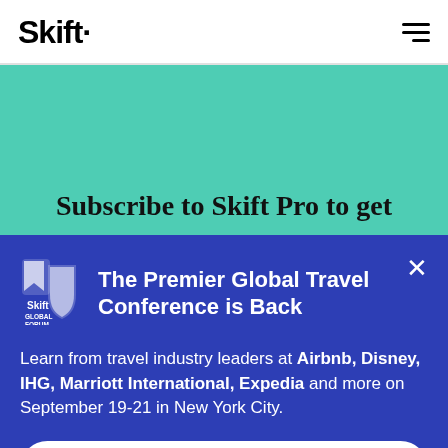Skift
Subscribe to Skift Pro to get
[Figure (logo): Skift Global Forum logo — white shield/bookmark icon with 'Skift GLOBAL FORUM' text]
The Premier Global Travel Conference is Back
Learn from travel industry leaders at Airbnb, Disney, IHG, Marriott International, Expedia and more on September 19-21 in New York City.
Learn More